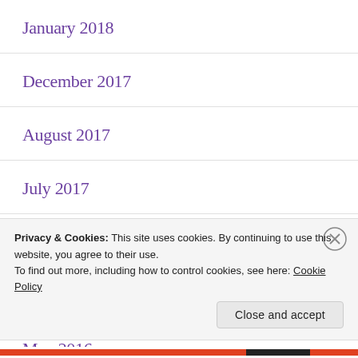January 2018
December 2017
August 2017
July 2017
January 2017
December 2016
May 2016
Privacy & Cookies: This site uses cookies. By continuing to use this website, you agree to their use.
To find out more, including how to control cookies, see here: Cookie Policy
Close and accept